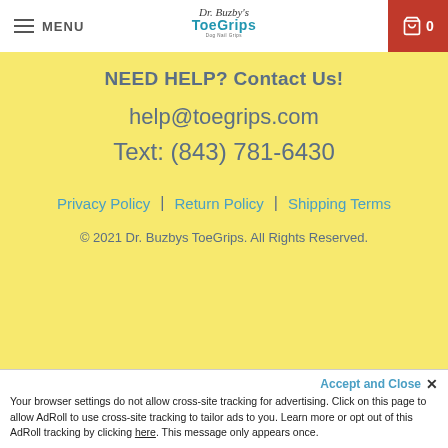MENU | Dr. Buzby's ToeGrips Dog Nail Grips | 0
NEED HELP? Contact Us!
help@toegrips.com
Text: (843) 781-6430
Privacy Policy | Return Policy | Shipping Terms
© 2021 Dr. Buzbys ToeGrips. All Rights Reserved.
Accept and Close ✕ Your browser settings do not allow cross-site tracking for advertising. Click on this page to allow AdRoll to use cross-site tracking to tailor ads to you. Learn more or opt out of this AdRoll tracking by clicking here. This message only appears once.